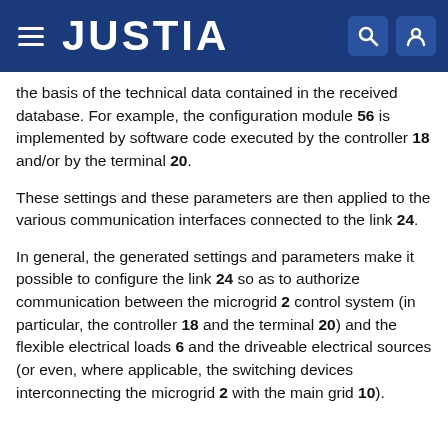JUSTIA
the basis of the technical data contained in the received database. For example, the configuration module 56 is implemented by software code executed by the controller 18 and/or by the terminal 20.
These settings and these parameters are then applied to the various communication interfaces connected to the link 24.
In general, the generated settings and parameters make it possible to configure the link 24 so as to authorize communication between the microgrid 2 control system (in particular, the controller 18 and the terminal 20) and the flexible electrical loads 6 and the driveable electrical sources (or even, where applicable, the switching devices interconnecting the microgrid 2 with the main grid 10).